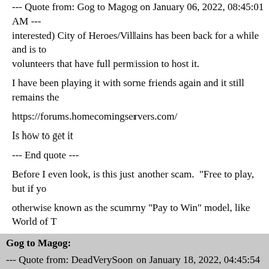--- Quote from: Gog to Magog on January 06, 2022, 08:45:01 AM --- interested) City of Heroes/Villains has been back for a while and is to volunteers that have full permission to host it.
I have been playing it with some friends again and it still remains the
https://forums.homecomingservers.com/
Is how to get it
--- End quote ---
Before I even look, is this just another scam.  "Free to play, but if yo
otherwise known as the scummy "Pay to Win" model, like World of T
Gog to Magog: --- Quote from: DeadVerySoon on January 18, 2022, 04:45:54 PM --- --- Quote from: Gog to Magog on January 06, 2022, 08:45:01 AM --- interested) City of Heroes/Villains has been back for a while and is to volunteers that have full permission to host it. I have been playing it with some friends again and it still remains the https://forums.homecomingservers.com/